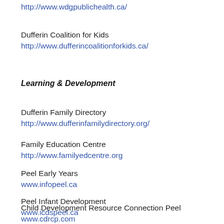http://www.wdgpublichealth.ca/
Dufferin Coalition for Kids
http://www.dufferincoalitionforkids.ca/
Learning & Development
Dufferin Family Directory
http://www.dufferinfamilydirectory.org/
Family Education Centre
http://www.familyedcentre.org
Peel Early Years
www.infopeel.ca
Peel Infant Development
www.icdspeel.ca
Child Development Resource Connection Peel
www.cdrcp.com